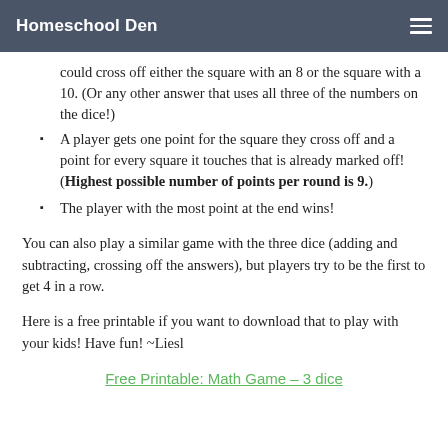Homeschool Den
could cross off either the square with an 8 or the square with a 10. (Or any other answer that uses all three of the numbers on the dice!)
A player gets one point for the square they cross off and a point for every square it touches that is already marked off! (Highest possible number of points per round is 9.)
The player with the most point at the end wins!
You can also play a similar game with the three dice (adding and subtracting, crossing off the answers), but players try to be the first to get 4 in a row.
Here is a free printable if you want to download that to play with your kids! Have fun! ~Liesl
Free Printable: Math Game – 3 dice